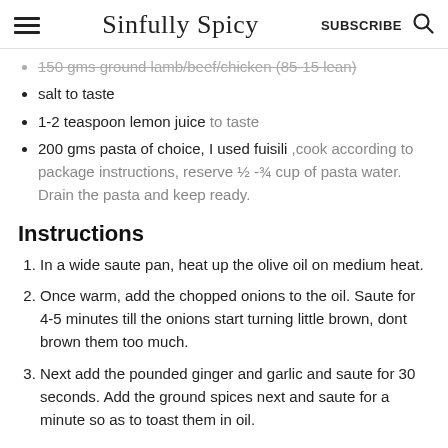Sinfully Spicy | SUBSCRIBE
150 gms ground lamb/beef/chicken (85-15 lean)
salt to taste
1-2 teaspoon lemon juice to taste
200 gms pasta of choice, I used fuisili ,cook according to package instructions, reserve ½ -¾ cup of pasta water. Drain the pasta and keep ready.
Instructions
In a wide saute pan, heat up the olive oil on medium heat.
Once warm, add the chopped onions to the oil. Saute for 4-5 minutes till the onions start turning little brown, dont brown them too much.
Next add the pounded ginger and garlic and saute for 30 seconds. Add the ground spices next and saute for a minute so as to toast them in oil.